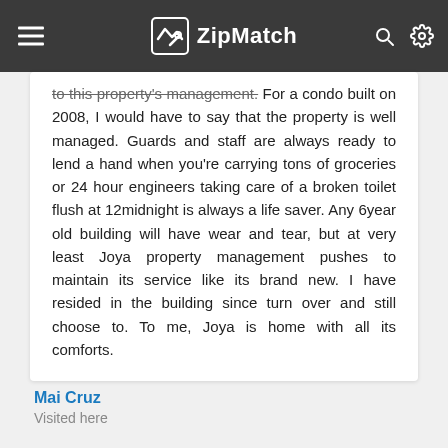ZipMatch
to this property's management. For a condo built on 2008, I would have to say that the property is well managed. Guards and staff are always ready to lend a hand when you're carrying tons of groceries or 24 hour engineers taking care of a broken toilet flush at 12midnight is always a life saver. Any 6year old building will have wear and tear, but at very least Joya property management pushes to maintain its service like its brand new. I have resided in the building since turn over and still choose to. To me, Joya is home with all its comforts.
Mai Cruz
Visited here